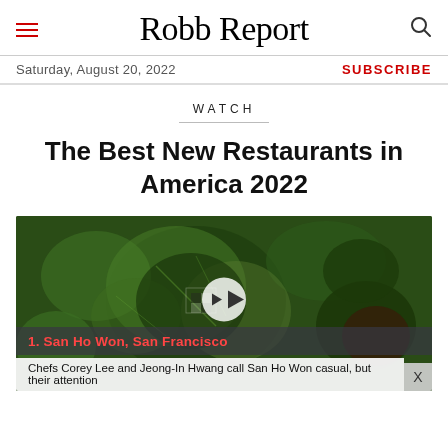Robb Report
Saturday, August 20, 2022
SUBSCRIBE
WATCH
The Best New Restaurants in America 2022
[Figure (photo): Video thumbnail showing Korean food dishes from above, with a play button overlay. Caption reads '1. San Ho Won, San Francisco'. Subtitle text: 'Chefs Corey Lee and Jeong-In Hwang call San Ho Won casual, but their attention']